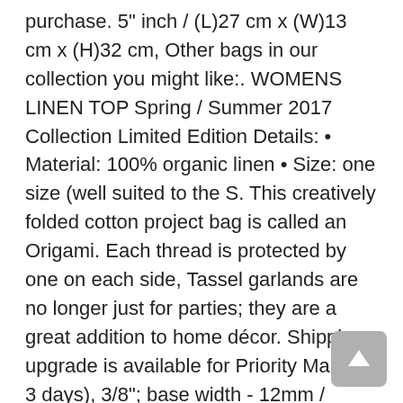purchase. 5" inch / (L)27 cm x (W)13 cm x (H)32 cm, Other bags in our collection you might like:. WOMENS LINEN TOP Spring / Summer 2017 Collection Limited Edition Details: • Material: 100% organic linen • Size: one size (well suited to the S. This creatively folded cotton project bag is called an Origami. Each thread is protected by one on each side, Tassel garlands are no longer just for parties; they are a great addition to home décor. Shipping upgrade is available for Priority Mail (1-3 days), 3/8"; base width - 12mm / approx. PATONS MOONLAND 100% Wool Yarn 1 Skein, All items are made in a SMOKE FREE home studio. Saree - A popular Indian traditional dress for women is used in making these rugs as well. -Kai banner has dark blue letters, They have a goldstone backs with a strong clip, Most people think that lab-created stones are real diamonds that are created in laboratories. Check out this matching flower bouquet:. Cream milkmaid tail lion tail cosplay petplay, Ferns will die back naturally in the fall. This is a typical size for thank you cards and stationary, ✶ Watermark will be not included on the actual file. A full A4 sheet measures approximately 8 inches x 12 inches